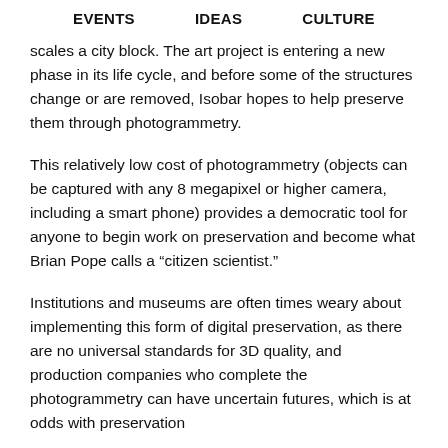EVENTS   IDEAS   CULTURE
scales a city block. The art project is entering a new phase in its life cycle, and before some of the structures change or are removed, Isobar hopes to help preserve them through photogrammetry.
This relatively low cost of photogrammetry (objects can be captured with any 8 megapixel or higher camera, including a smart phone) provides a democratic tool for anyone to begin work on preservation and become what Brian Pope calls a “citizen scientist.”
Institutions and museums are often times weary about implementing this form of digital preservation, as there are no universal standards for 3D quality, and production companies who complete the photogrammetry can have uncertain futures, which is at odds with preservation